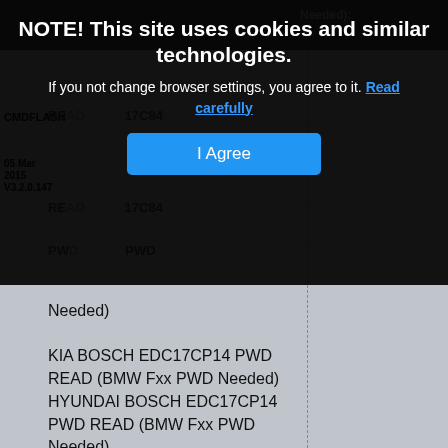[Figure (screenshot): Cookie consent overlay banner on a dark background showing: 'NOTE! This site uses cookies and similar technologies.' with subtext 'If you not change browser settings, you agree to it. Read carefully' and a blue 'I Agree' button. Behind the overlay, partially visible content shows CMDFLASH software interface with text entries including KIA BOSCH EDC17CP14, HYUNDAI BOSCH EDC17CP14, VAG BOSCH EDC17CP04, VAG BOSCH EDC17CP14, VAG BOSCH EDC17CP20 entries with PWD READ (BMW Fxx PWD Needed) descriptions.]
NOTE! This site uses cookies and similar technologies.
If you not change browser settings, you agree to it. Read carefully
Needed)
KIA BOSCH EDC17CP14 PWD READ (BMW Fxx PWD Needed)
HYUNDAI BOSCH EDC17CP14 PWD READ (BMW Fxx PWD Needed)
VAG BOSCH EDC17CP04 PWD READ (BMW Fxx PWD Needed)
VAG BOSCH EDC17CP14 PWD READ (BMW Fxx PWD Needed)
VAG BOSCH EDC17CP20